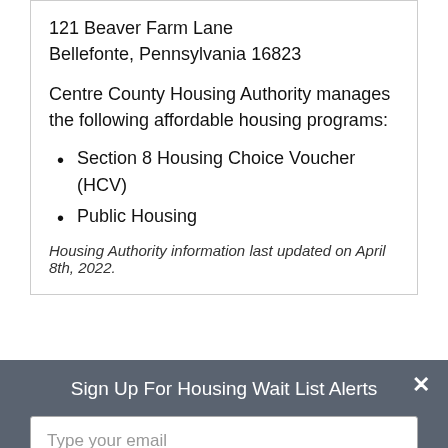121 Beaver Farm Lane
Bellefonte, Pennsylvania 16823
Centre County Housing Authority manages the following affordable housing programs:
Section 8 Housing Choice Voucher (HCV)
Public Housing
Housing Authority information last updated on April 8th, 2022.
Lancaster County Housing Authority
Sign Up For Housing Wait List Alerts
Type your email
Sign Up